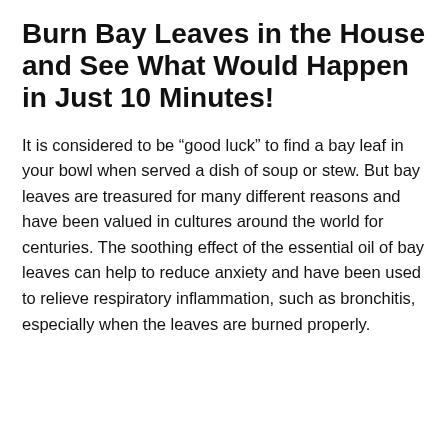Burn Bay Leaves in the House and See What Would Happen in Just 10 Minutes!
It is considered to be “good luck” to find a bay leaf in your bowl when served a dish of soup or stew. But bay leaves are treasured for many different reasons and have been valued in cultures around the world for centuries. The soothing effect of the essential oil of bay leaves can help to reduce anxiety and have been used to relieve respiratory inflammation, such as bronchitis, especially when the leaves are burned properly.